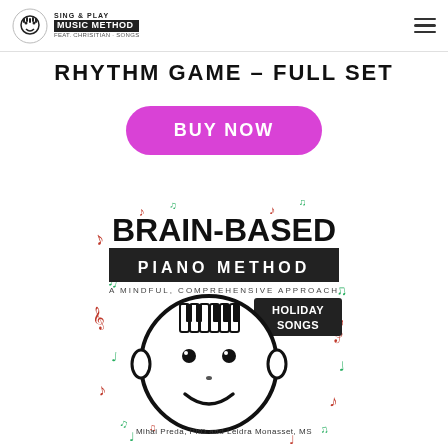Sing & Play Music Method
RHYTHM GAME – FULL SET
BUY NOW
[Figure (illustration): Book cover for Brain-Based Piano Method: A Mindful, Comprehensive Approach – Holiday Songs, featuring a cartoon child face with piano keys as hair, surrounded by musical notes in red and green, with authors Mihai Preda, PhD and Leidra Monasset, MS]